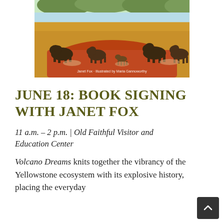[Figure (illustration): Book cover illustration showing bison roaming across a golden Yellowstone prairie with mountains and forest in the background. Text on the image reads: Janet Fox · Illustrated by Maria Giannoworthy]
JUNE 18: BOOK SIGNING WITH JANET FOX
11 a.m. – 2 p.m. | Old Faithful Visitor and Education Center
Volcano Dreams knits together the vibrancy of the Yellowstone ecosystem with its explosive history, placing the everyday